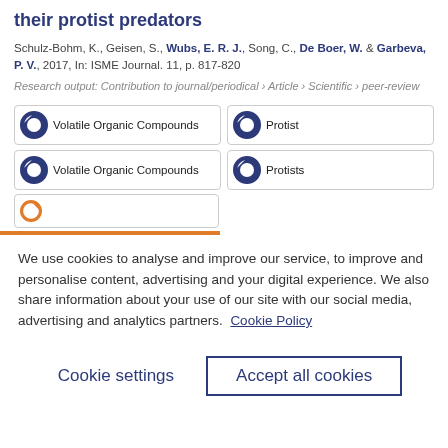their protist predators
Schulz-Bohm, K., Geisen, S., Wubs, E. R. J., Song, C., De Boer, W. & Garbeva, P. V., 2017, In: ISME Journal. 11, p. 817-820
Research output: Contribution to journal/periodical › Article › Scientific › peer-review
[Figure (infographic): Four keyword badges with donut-style icons: Volatile Organic Compounds (100%), Protist (100%), Volatile Organic Compounds (100%), Protists (100%)]
We use cookies to analyse and improve our service, to improve and personalise content, advertising and your digital experience. We also share information about your use of our site with our social media, advertising and analytics partners.  Cookie Policy
Cookie settings
Accept all cookies